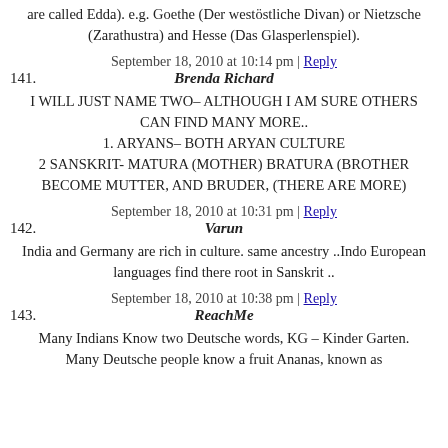are called Edda). e.g. Goethe (Der westöstliche Divan) or Nietzsche (Zarathustra) and Hesse (Das Glasperlenspiel).
September 18, 2010 at 10:14 pm | Reply
141. Brenda Richard
I WILL JUST NAME TWO– ALTHOUGH I AM SURE OTHERS CAN FIND MANY MORE.. 1. ARYANS– BOTH ARYAN CULTURE 2 SANSKRIT- MATURA (MOTHER) BRATURA (BROTHER BECOME MUTTER, AND BRUDER, (THERE ARE MORE)
September 18, 2010 at 10:31 pm | Reply
142. Varun
India and Germany are rich in culture. same ancestry ..Indo European languages find there root in Sanskrit ..
September 18, 2010 at 10:38 pm | Reply
143. ReachMe
Many Indians Know two Deutsche words, KG – Kinder Garten. Many Deutsche people know a fruit Ananas, known as